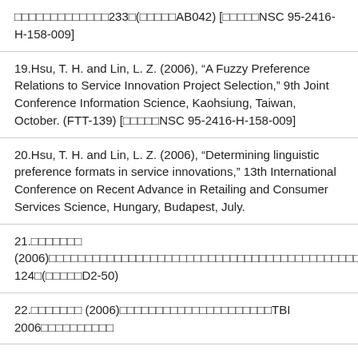□□□□□□□□□□□□□233□(□□□□□AB042) [□□□□□NSC 95-2416-H-158-009]
19.Hsu, T. H. and Lin, L. Z. (2006), “A Fuzzy Preference Relations to Service Innovation Project Selection,” 9th Joint Conference Information Science, Kaohsiung, Taiwan, October. (FTT-139) [□□□□□NSC 95-2416-H-158-009]
20.Hsu, T. H. and Lin, L. Z. (2006), “Determining linguistic preference formats in service innovations,” 13th International Conference on Recent Advance in Retailing and Consumer Services Science, Hungary, Budapest, July.
21.□□□□□□□ (2006)□□□□□□□□□□□□□□□□□□□□□□□□□□□□□□□□□□□□□□□□□□□□108-124□(□□□□□D2-50)
22.□□□□□□□ (2006)□□□□□□□□□□□□□□□□□□□□□TBI 2006□□□□□□□□□□